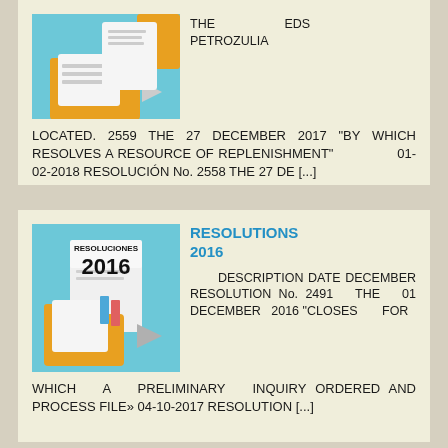[Figure (illustration): Illustration of a folder with documents, partially visible at top of first card]
THE EDS PETROZULIA LOCATED. 2559 THE 27 DECEMBER 2017 "BY WHICH RESOLVES A RESOURCE OF REPLENISHMENT" 01-02-2018 RESOLUCIÓN No. 2558 THE 27 DE [...]
[Figure (illustration): Illustration showing a folder with documents and text RESOLUCIONES 2016]
RESOLUTIONS 2016
DESCRIPTION DATE DECEMBER RESOLUTION No. 2491 THE 01 DECEMBER 2016 "CLOSES FOR WHICH A PRELIMINARY INQUIRY ORDERED AND PROCESS FILE» 04-10-2017 RESOLUTION [...]